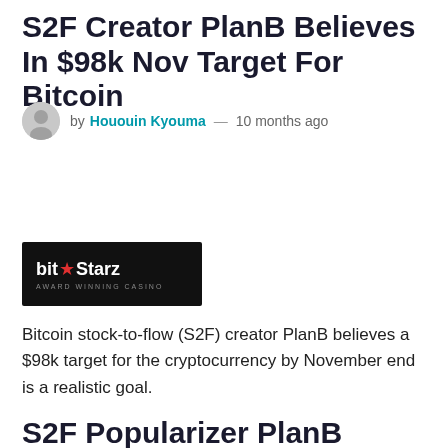S2F Creator PlanB Believes In $98k Nov Target For Bitcoin
by Hououin Kyouma — 10 months ago
[Figure (logo): BitStarz Award Winning Casino logo on black background]
Bitcoin stock-to-flow (S2F) creator PlanB believes a $98k target for the cryptocurrency by November end is a realistic goal.
S2F Popularizer PlanB Sticks